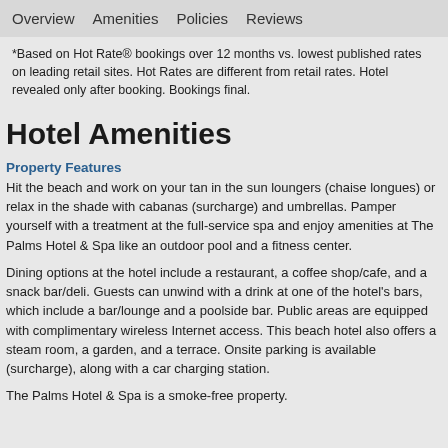Overview   Amenities   Policies   Reviews
*Based on Hot Rate® bookings over 12 months vs. lowest published rates on leading retail sites. Hot Rates are different from retail rates. Hotel revealed only after booking. Bookings final.
Hotel Amenities
Property Features
Hit the beach and work on your tan in the sun loungers (chaise longues) or relax in the shade with cabanas (surcharge) and umbrellas. Pamper yourself with a treatment at the full-service spa and enjoy amenities at The Palms Hotel & Spa like an outdoor pool and a fitness center.
Dining options at the hotel include a restaurant, a coffee shop/cafe, and a snack bar/deli. Guests can unwind with a drink at one of the hotel's bars, which include a bar/lounge and a poolside bar. Public areas are equipped with complimentary wireless Internet access. This beach hotel also offers a steam room, a garden, and a terrace. Onsite parking is available (surcharge), along with a car charging station.
The Palms Hotel & Spa is a smoke-free property.